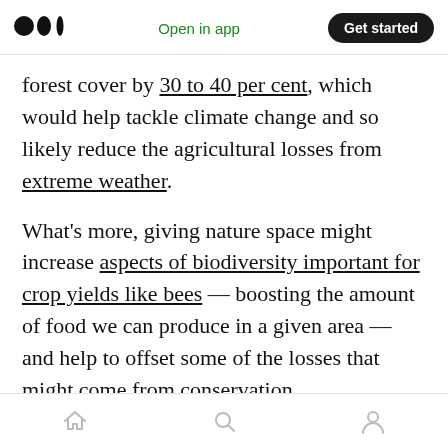Medium logo | Open in app | Get started
forest cover by 30 to 40 per cent, which would help tackle climate change and so likely reduce the agricultural losses from extreme weather.
What’s more, giving nature space might increase aspects of biodiversity important for crop yields like bees — boosting the amount of food we can produce in a given area — and help to offset some of the losses that might come from conservation.
Paula Ehrlich, the president and CEO of the E.O. Wilson Biodiversity Foundation and head of the
Home | Search | Profile